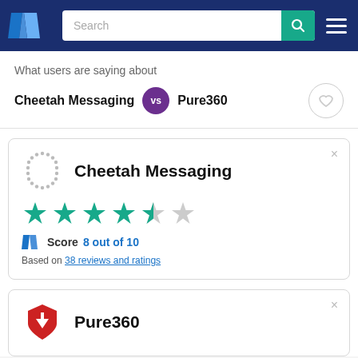TrustRadius header with logo, search bar, and menu
What users are saying about
Cheetah Messaging vs Pure360
Cheetah Messaging — Score 8 out of 10 — Based on 38 reviews and ratings
Pure360